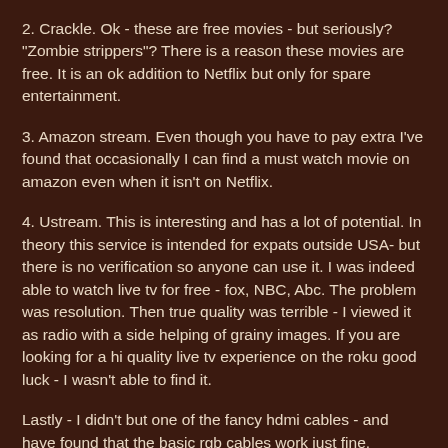2. Crackle. Ok - these are free movies - but seriously? "Zombie strippers"? There is a reason these movies are free. It is an ok addition to Netflix but only for spare entertainment.
3. Amazon stream. Even though you have to pay extra I've found that occasionally I can find a must watch movie on amazon even when it isn't on Netflix.
4. Ustream. This is interesting and has a lot of potential. In theory this service is intended for expats outside USA- but there is no verification so anyone can use it. I was indeed able to watch live tv for free - fox, NBC, Abc. The problem was resolution. Then true quality was terrible - I viewed it as radio with a side helping of grainy images. If you are looking for a hi quality live tv experience on the roku good luck - I wasn't able to find it.
Lastly - I didn't but one of the fancy hdmi cables - and have found that the basic rgb cables work just fine.